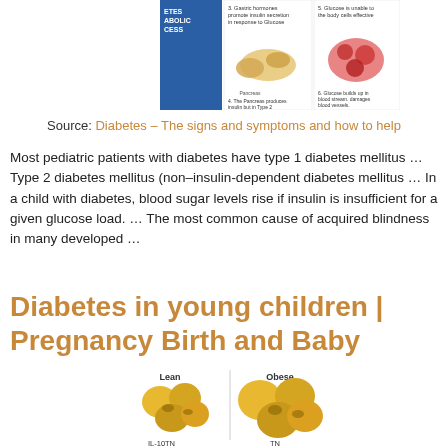[Figure (illustration): Partial medical illustration showing diabetes metabolic process with blue panel, pancreas image, and blood vessel images with captions about insulin and glucose.]
Source: Diabetes – The signs and symptoms and how to help
Most pediatric patients with diabetes have type 1 diabetes mellitus … Type 2 diabetes mellitus (non–insulin-dependent diabetes mellitus … In a child with diabetes, blood sugar levels rise if insulin is insufficient for a given glucose load. … The most common cause of acquired blindness in many developed …
Diabetes in young children | Pregnancy Birth and Baby
[Figure (illustration): Medical illustration comparing Lean vs Obese fat cells (adipocytes) with labels IL-10, IL-4, and TN visible at the bottom.]